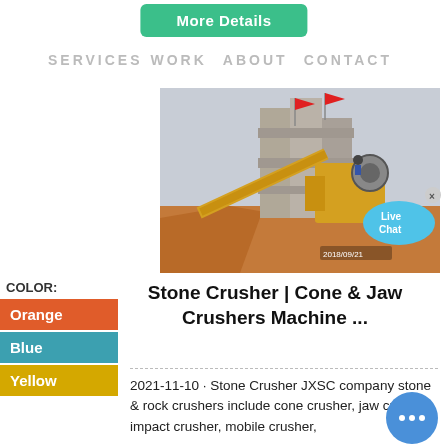More Details
SERVICES   WORK   ABOUT   CONTACT
[Figure (photo): Stone crusher / jaw crusher industrial machine at a construction or mining site. Large concrete structures, yellow machinery, conveyor belt, red flags, piles of orange gravel/sand.]
Stone Crusher | Cone & Jaw Crushers Machine ...
Orange
Blue
Yellow
2021-11-10 · Stone Crusher JXSC company stone & rock crushers include cone crusher, jaw crusher, impact crusher, mobile crusher,